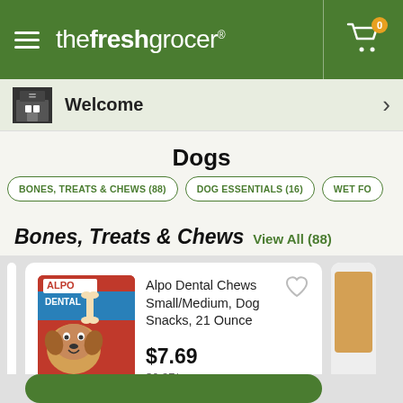the fresh grocer
Welcome
Dogs
BONES, TREATS & CHEWS (88)
DOG ESSENTIALS (16)
WET FO...
Bones, Treats & Chews View All (88)
[Figure (photo): Alpo Dental Chews product package showing a dog and dental chew treat]
Alpo Dental Chews Small/Medium, Dog Snacks, 21 Ounce
$7.69
$0.37/oz